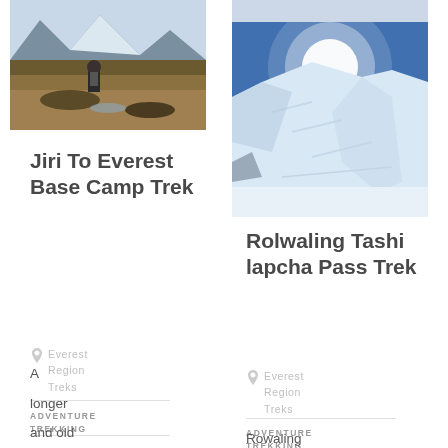[Figure (photo): Trekker sitting in mountain landscape with autumn colors and snow-capped peaks in background]
Jiri To Everest Base Camp Trek
Everest Region Treks
ADVENTURE TREKKING
A longer and old
[Figure (photo): Bright sun over snowy glacier and ice fall, blue sky]
Rolwaling Tashi lapcha Pass Trek
Everest Region Treks
ADVENTURE TREKKING
Rowaling